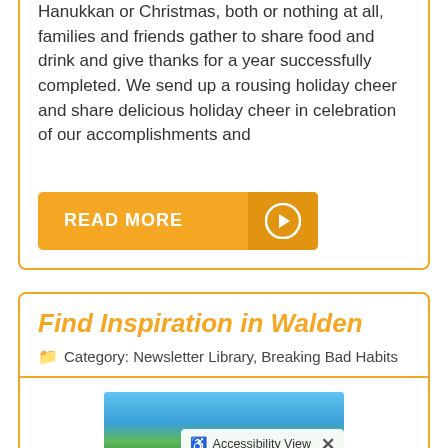Hanukkan or Christmas, both or nothing at all, families and friends gather to share food and drink and give thanks for a year successfully completed. We send up a rousing holiday cheer and share delicious holiday cheer in celebration of our accomplishments and
[Figure (other): Orange 'READ MORE' button with arrow icon in darker orange circle on right]
Find Inspiration in Walden
Category: Newsletter Library, Breaking Bad Habits
[Figure (photo): Partial photo of trees/nature with blue sky, overlaid with an Accessibility View toolbar]